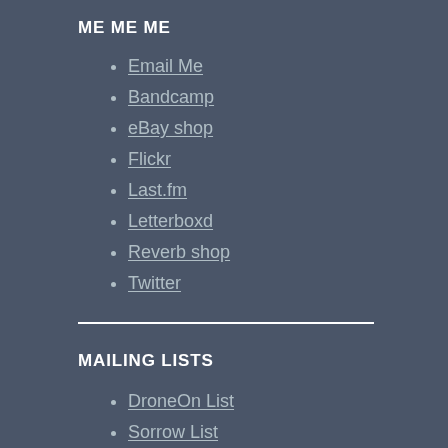ME ME ME
Email Me
Bandcamp
eBay shop
Flickr
Last.fm
Letterboxd
Reverb shop
Twitter
MAILING LISTS
DroneOn List
Sorrow List